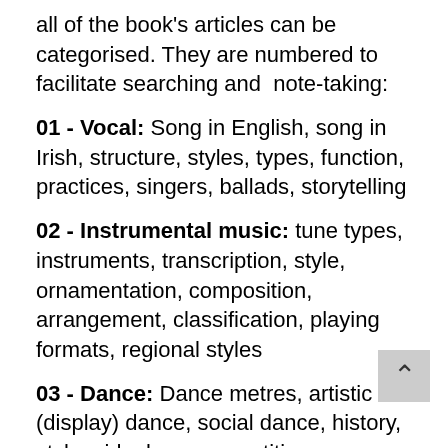all of the book's articles can be categorised. They are numbered to facilitate searching and note-taking:
01 - Vocal: Song in English, song in Irish, structure, styles, types, function, practices, singers, ballads, storytelling
02 - Instrumental music: tune types, instruments, transcription, style, ornamentation, composition, arrangement, classification, playing formats, regional styles
03 - Dance: Dance metres, artistic (display) dance, social dance, history, styles, ideology, competition, organisation
04 - Organisation: Fleadh, session...